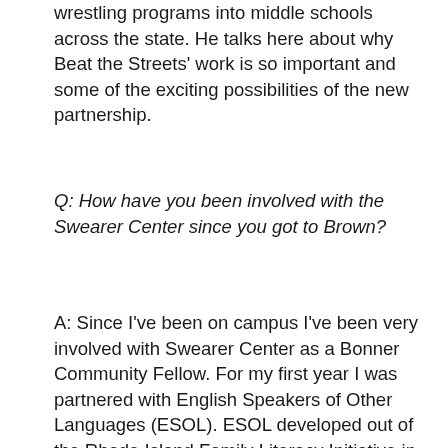wrestling programs into middle schools across the state. He talks here about why Beat the Streets' work is so important and some of the exciting possibilities of the new partnership.
Q: How have you been involved with the Swearer Center since you got to Brown?
A: Since I've been on campus I've been very involved with Swearer Center as a Bonner Community Fellow. For my first year I was partnered with English Speakers of Other Languages (ESOL). ESOL developed out of the Rhode Island Family Literacy Initiative in order to provide English lessons to adult immigrants in the Olneyville community. So my task was to twice a week teach English to adult immigrants. The project is something that's really close to my heart because when I was 10 and moved to the U.S. neither I nor my parents know English, so